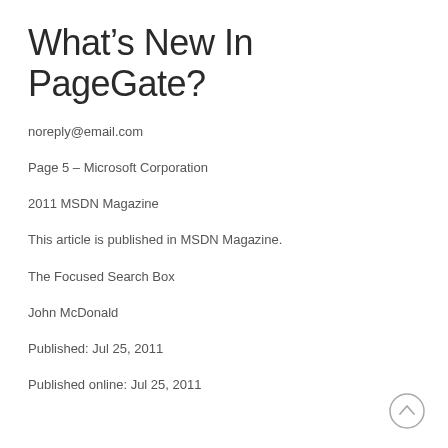What’s New In PageGate?
noreply@email.com
Page 5 – Microsoft Corporation
2011 MSDN Magazine
This article is published in MSDN Magazine.
The Focused Search Box
John McDonald
Published: Jul 25, 2011
Published online: Jul 25, 2011